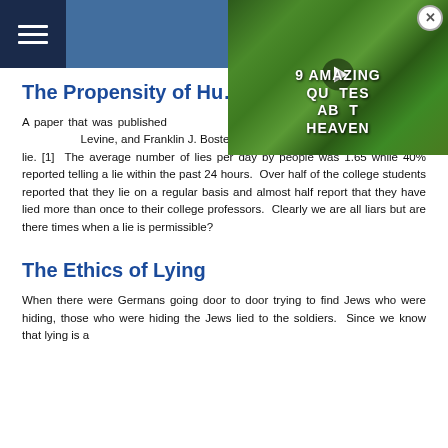[Figure (screenshot): Video thumbnail overlay showing forest/nature background with text '9 AMAZING QUOTES ABOUT HEAVEN' and a play button, with a close (X) button in the top right corner]
The Propensity of Hu[mans to Lie]
A paper that was published [in the Journal of] Communication Research," b[y Timothy R. Levine,] Levine, and Franklin J. Boster supports the biblical fact that all of us lie. [1]  The average number of lies per day by people was 1.65 while 40% reported telling a lie within the past 24 hours.  Over half of the college students reported that they lie on a regular basis and almost half report that they have lied more than once to their college professors.  Clearly we are all liars but are there times when a lie is permissible?
The Ethics of Lying
When there were Germans going door to door trying to find Jews who were hiding, those who were hiding the Jews lied to the soldiers.  Since we know that lying is a